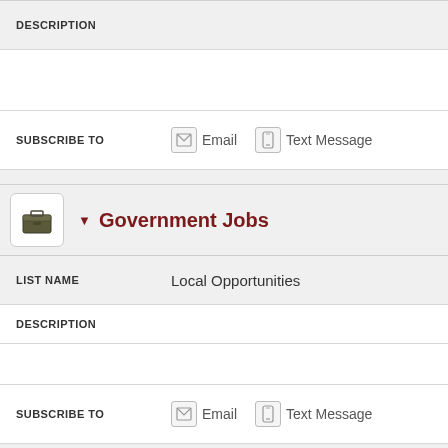DESCRIPTION
SUBSCRIBE TO   Email   Text Message
Government Jobs
LIST NAME   Local Opportunities
DESCRIPTION
SUBSCRIBE TO   Email   Text Message
LIST NAME   Village Opportunities
DESCRIPTION   View Previous Messages